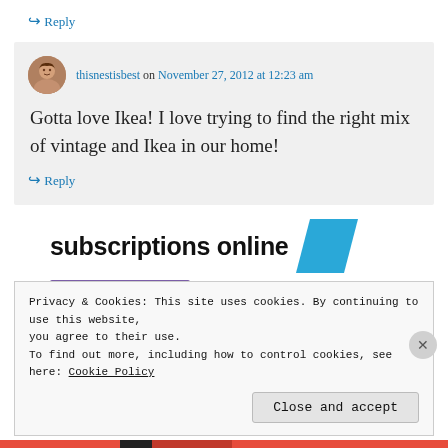↳ Reply
thisnestisbest on November 27, 2012 at 12:23 am
Gotta love Ikea! I love trying to find the right mix of vintage and Ikea in our home!
↳ Reply
subscriptions online
Privacy & Cookies: This site uses cookies. By continuing to use this website, you agree to their use.
To find out more, including how to control cookies, see here: Cookie Policy
Close and accept